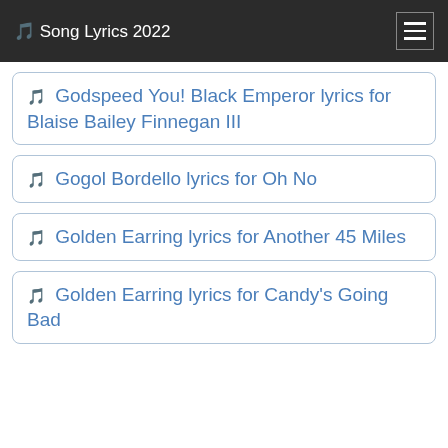🎵 Song Lyrics 2022
🎵 Godspeed You! Black Emperor lyrics for Blaise Bailey Finnegan III
🎵 Gogol Bordello lyrics for Oh No
🎵 Golden Earring lyrics for Another 45 Miles
🎵 Golden Earring lyrics for Candy's Going Bad